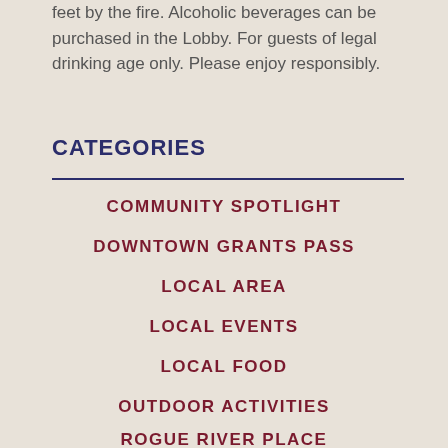feet by the fire. Alcoholic beverages can be purchased in the Lobby. For guests of legal drinking age only. Please enjoy responsibly.
CATEGORIES
COMMUNITY SPOTLIGHT
DOWNTOWN GRANTS PASS
LOCAL AREA
LOCAL EVENTS
LOCAL FOOD
OUTDOOR ACTIVITIES
ROGUE RIVER PLACE